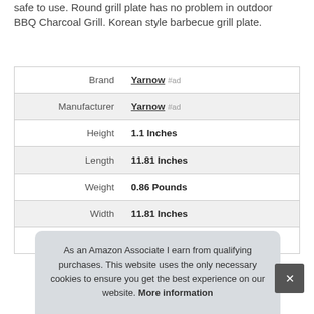safe to use. Round grill plate has no problem in outdoor BBQ Charcoal Grill. Korean style barbecue grill plate.
|  |  |
| --- | --- |
| Brand | Yarnow #ad |
| Manufacturer | Yarnow #ad |
| Height | 1.1 Inches |
| Length | 11.81 Inches |
| Weight | 0.86 Pounds |
| Width | 11.81 Inches |
| Part Number | PS08NN226J34MSO3610R1H |
As an Amazon Associate I earn from qualifying purchases. This website uses the only necessary cookies to ensure you get the best experience on our website. More information